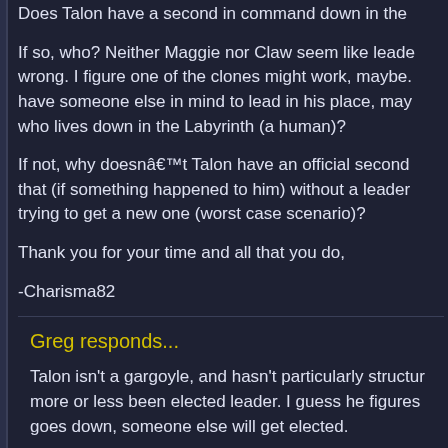Does Talon have a second in command down in the
If so, who? Neither Maggie nor Claw seem like leaders wrong. I figure one of the clones might work, maybe. have someone else in mind to lead in his place, may who lives down in the Labyrinth (a human)?
If not, why doesnâ€™t Talon have an official second that (if something happened to him) without a leader trying to get a new one (worst case scenario)?
Thank you for your time and all that you do,
-Charisma82
Greg responds...
Talon isn't a gargoyle, and hasn't particularly structured more or less been elected leader. I guess he figures goes down, someone else will get elected.
There are people down there he trusts, like Thug and Delilah.
But nothing official.